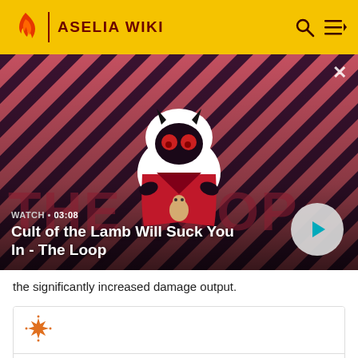ASELIA WIKI
[Figure (screenshot): Video thumbnail for 'Cult of the Lamb Will Suck You In - The Loop' showing an animated lamb character with devil horns on a red and dark purple diagonal striped background. Overlay shows WATCH • 03:08 label and a play button.]
the significantly increased damage output.
[Figure (logo): Orange decorative star/snowflake icon]
Tales of Vesperia